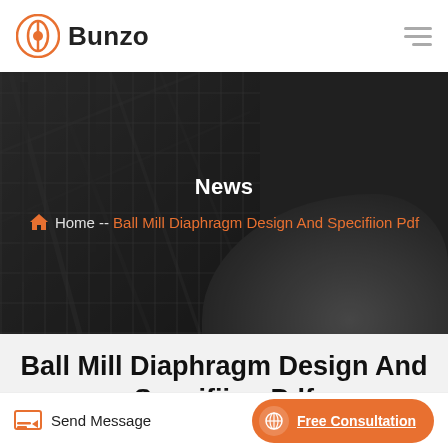Bunzo
[Figure (photo): Industrial construction site with scaffolding and steel structures on the left, a large pile of gravel/rubble on the right, overlaid with dark semi-transparent gradient. Hero banner with 'News' heading and breadcrumb navigation.]
News
Home -- Ball Mill Diaphragm Design And Specifiion Pdf
Ball Mill Diaphragm Design And Specifiion Pdf
Send Message   Free Consultation